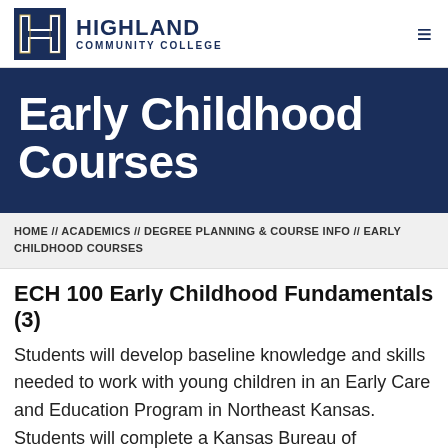Highland Community College
Early Childhood Courses
HOME // ACADEMICS // DEGREE PLANNING & COURSE INFO // EARLY CHILDHOOD COURSES
ECH 100 Early Childhood Fundamentals (3)
Students will develop baseline knowledge and skills needed to work with young children in an Early Care and Education Program in Northeast Kansas. Students will complete a Kansas Bureau of Investigation (KBI) background check, and provide a copy of a current